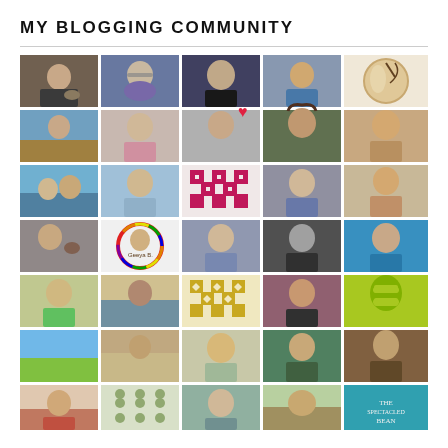MY BLOGGING COMMUNITY
[Figure (photo): Grid of 35 blogger profile photos and avatars arranged in 7 rows of 5 columns, showing portraits and icons representing an online blogging community.]